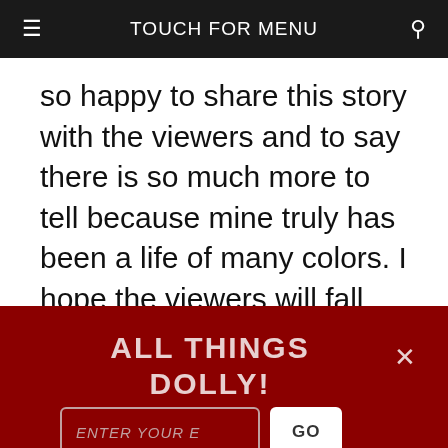TOUCH FOR MENU
so happy to share this story with the viewers and to say there is so much more to tell because mine truly has been a life of many colors. I hope the viewers will fall
ALL THINGS DOLLY!
ENTER YOUR E
GO